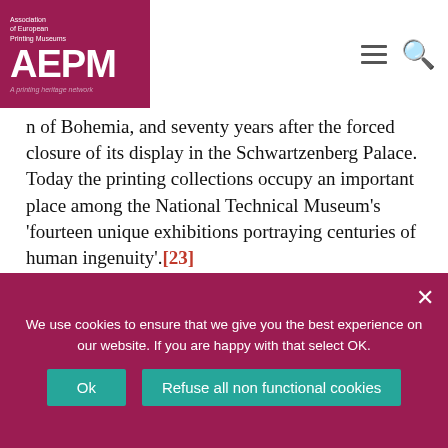Association of European Printing Museums — AEPM — A printing heritage network
n of Bohemia, and seventy years after the forced closure of its display in the Schwartzenberg Palace. Today the printing collections occupy an important place among the National Technical Museum's 'fourteen unique exhibitions portraying centuries of human ingenuity'.[23]
[Figure (photo): Interior of the National Technical Museum printing exhibition hall showing large glass windows revealing printing machinery and equipment on multiple floors]
We use cookies to ensure that we give you the best experience on our website. If you are happy with that select OK.